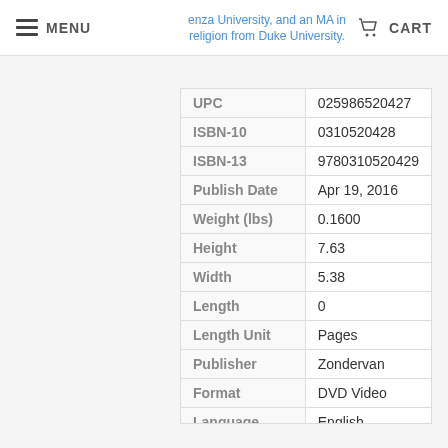MENU | CART
enza University, and an MA in religion from Duke University.
| Field | Value |
| --- | --- |
| UPC | 025986520427 |
| ISBN-10 | 0310520428 |
| ISBN-13 | 9780310520429 |
| Publish Date | Apr 19, 2016 |
| Weight (lbs) | 0.1600 |
| Height | 7.63 |
| Width | 5.38 |
| Length | 0 |
| Length Unit | Pages |
| Publisher | Zondervan |
| Format | DVD Video |
| Language | English |